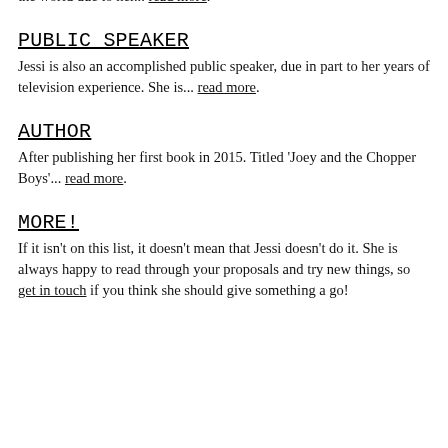BRAND REPRESENTATIVE
Jessi works with a range of companies and their products throughout the world due to her... read more.
PUBLIC SPEAKER
Jessi is also an accomplished public speaker, due in part to her years of television experience. She is... read more.
AUTHOR
After publishing her first book in 2015. Titled 'Joey and the Chopper Boys'... read more.
MORE!
If it isn't on this list, it doesn't mean that Jessi doesn't do it. She is always happy to read through your proposals and try new things, so get in touch if you think she should give something a go!